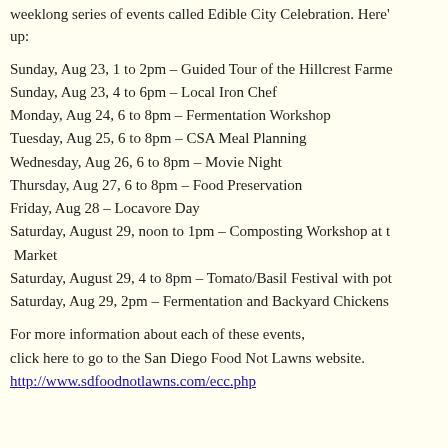weeklong series of events called Edible City Celebration. Here's what's coming up:
Sunday, Aug 23, 1 to 2pm – Guided Tour of the Hillcrest Farmers Market
Sunday, Aug 23, 4 to 6pm – Local Iron Chef
Monday, Aug 24, 6 to 8pm – Fermentation Workshop
Tuesday, Aug 25, 6 to 8pm – CSA Meal Planning
Wednesday, Aug 26, 6 to 8pm – Movie Night
Thursday, Aug 27, 6 to 8pm – Food Preservation
Friday, Aug 28 – Locavore Day
Saturday, August 29, noon to 1pm – Composting Workshop at the Market
Saturday, August 29, 4 to 8pm – Tomato/Basil Festival with pot
Saturday, Aug 29, 2pm – Fermentation and Backyard Chickens
For more information about each of these events, click here to go to the San Diego Food Not Lawns website. http://www.sdfoodnotlawns.com/ecc.php